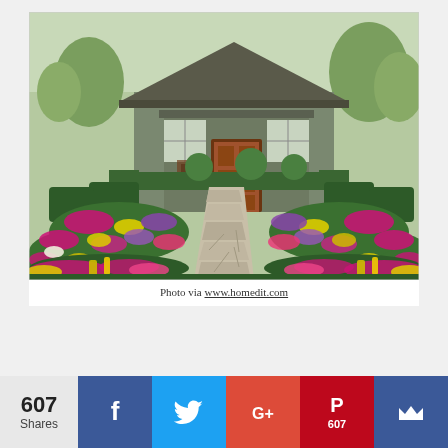[Figure (photo): A craftsman-style house with a lush front garden featuring a flagstone pathway lined with colorful flowers (pink, yellow, purple), trimmed boxwood hedges, and spherical topiary bushes leading up to a wooden front door.]
Photo via www.homedit.com
607 Shares
[Figure (infographic): Social sharing bar with Facebook, Twitter, Google+, Pinterest (607), and a crown/bookmark button.]